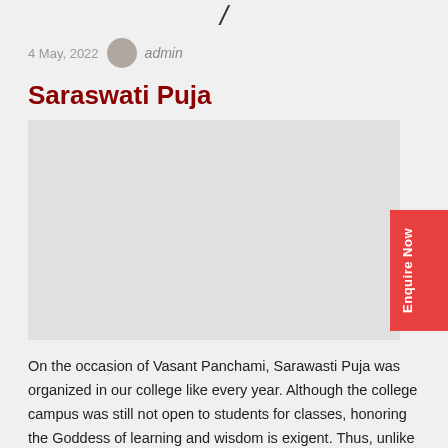/
4 May, 2022  admin
Saraswati Puja
[Figure (photo): Image placeholder area for Saraswati Puja event photo]
Enquire Now
On the occasion of Vasant Panchami, Sarawasti Puja was organized in our college like every year. Although the college campus was still not open to students for classes, honoring the Goddess of learning and wisdom is exigent. Thus, unlike conventional times, all arrangements and decorations for the ...